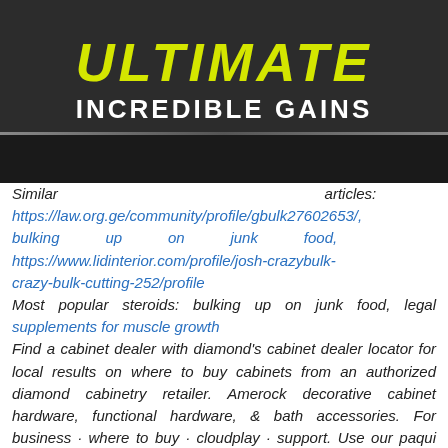ULTIMATE INCREDIBLE GAINS
Similar articles: https://law.org.ge/community/profile/gbulk27602653/, bulking up on junk food, https://www.lidinterior.com/profile/josh-crazybulk-crazy-bulk-cutting-252/profile
Most popular steroids: bulking up on junk food, legal supplements for muscle growth
Find a cabinet dealer with diamond's cabinet dealer locator for local results on where to buy cabinets from an authorized diamond cabinetry retailer. Amerock decorative cabinet hardware, functional hardware, & bath accessories. For business · where to buy · cloudplay · support. Use our paqui chips "where to buy" tool to locate paqui in a store close to you